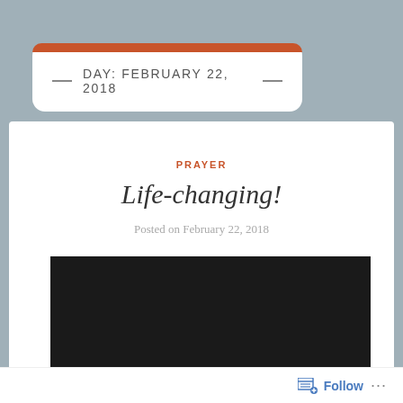DAY: FEBRUARY 22, 2018
PRAYER
Life-changing!
Posted on February 22, 2018
[Figure (screenshot): Embedded video player showing 'This video is unavailable' message on black background]
Follow ...